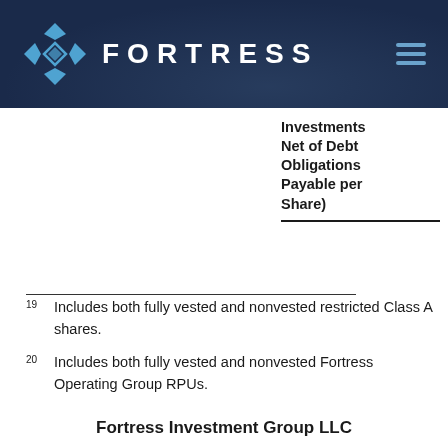FORTRESS
| Investments Net of Debt Obligations Payable per Share) |
| --- |
19  Includes both fully vested and nonvested restricted Class A shares.
20  Includes both fully vested and nonvested Fortress Operating Group RPUs.
Fortress Investment Group LLC